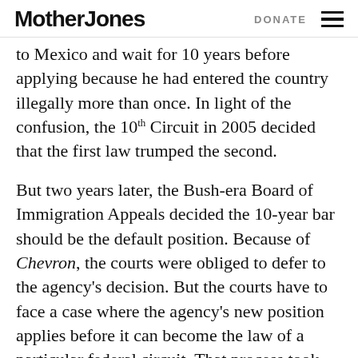Mother Jones | DONATE
to Mexico and wait for 10 years before applying because he had entered the country illegally more than once. In light of the confusion, the 10th Circuit in 2005 decided that the first law trumped the second.
But two years later, the Bush-era Board of Immigration Appeals decided the 10-year bar should be the default position. Because of Chevron, the courts were obliged to defer to the agency's decision. But the courts have to face a case where the agency's new position applies before it can become the law of a particular federal circuit. That process took four years in the 10th Circuit. In the meantime,